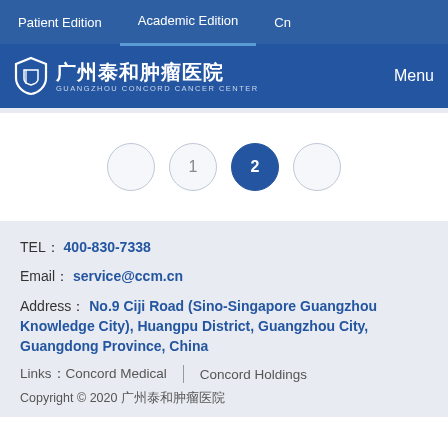Patient Edition | Academic Edition | Cn
[Figure (logo): Guangzhou Concord Cancer Center logo with Chinese characters 广州泰和肿瘤医院 and shield icon, with Menu button on right]
[Figure (infographic): Pagination controls showing circles: blank, 1, 2 (active/filled dark blue), blank]
TEL：400-830-7338
Email：service@ccm.cn
Address：No.9 Ciji Road (Sino-Singapore Guangzhou Knowledge City), Huangpu District, Guangzhou City, Guangdong Province, China
Links：Concord Medical  |  Concord Holdings
Copyright © 2020 广州泰和肿瘤医院